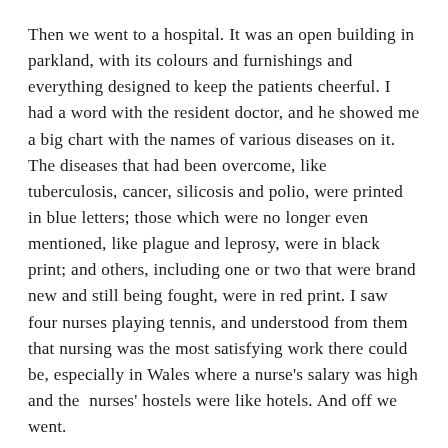Then we went to a hospital. It was an open building in parkland, with its colours and furnishings and everything designed to keep the patients cheerful. I had a word with the resident doctor, and he showed me a big chart with the names of various diseases on it. The diseases that had been overcome, like tuberculosis, cancer, silicosis and polio, were printed in blue letters; those which were no longer even mentioned, like plague and leprosy, were in black print; and others, including one or two that were brand new and still being fought, were in red print. I saw four nurses playing tennis, and understood from them that nursing was the most satisfying work there could be, especially in Wales where a nurse's salary was high and the  nurses' hostels were like hotels. And off we went.
Somewhere in the middle of all this gadding around